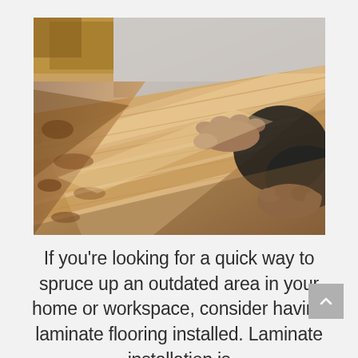[Figure (photo): Close-up photo of a person's hands pressing down a laminate wood flooring plank during installation. The wood planks are light brown with visible grain texture. The background shows an unfinished floor area.]
If you're looking for a quick way to spruce up an outdated area in your home or workspace, consider having laminate flooring installed. Laminate installation is